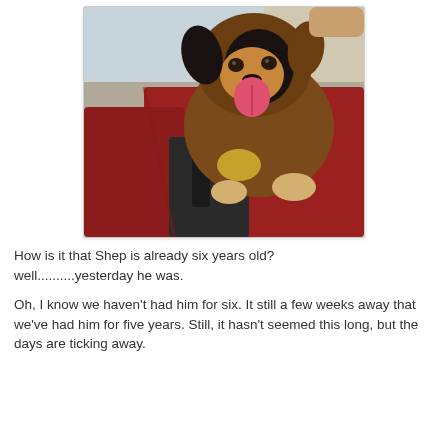[Figure (photo): A dog (Shep) sitting on a red leather car seat, panting with tongue out, with a yellow object nearby and the car gear shift visible in the foreground.]
How is it that Shep is already six years old? well..........yesterday he was.
Oh, I know we haven't had him for six. It still a few weeks away that we've had him for five years. Still, it hasn't seemed this long, but the days are ticking away.